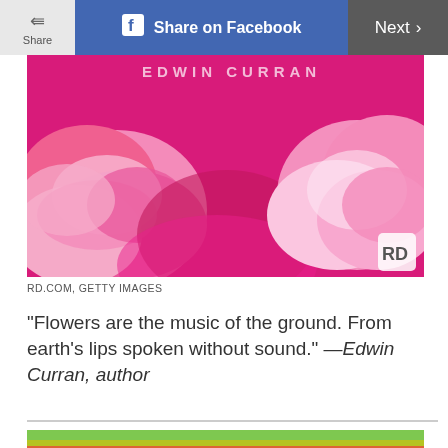Share | Share on Facebook | Next >
[Figure (photo): Close-up photo of bright magenta/pink peonies or roses with RD logo watermark in bottom right corner. Text 'EDWIN CURRAN' partially visible at top.]
RD.COM, GETTY IMAGES
"Flowers are the music of the ground. From earth's lips spoken without sound." —Edwin Curran, author
[Figure (photo): Abstract colorful layered image with wavy bands of green, red, pink, yellow, blue colors resembling hills or landscape.]